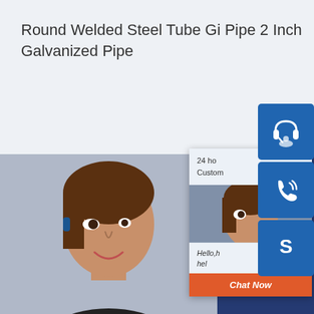Round Welded Steel Tube Gi Pipe 2 Inch Galvanized Pipe
[Figure (screenshot): Chat support widget showing customer service rep photo, 24 hour customer support text, headset icon, phone icon, Skype icon, and Chat Now button]
24 ho... Custom...
Hello,h... hel...
Chat Now
Our steel factory sells 360 million yuan a year, and the